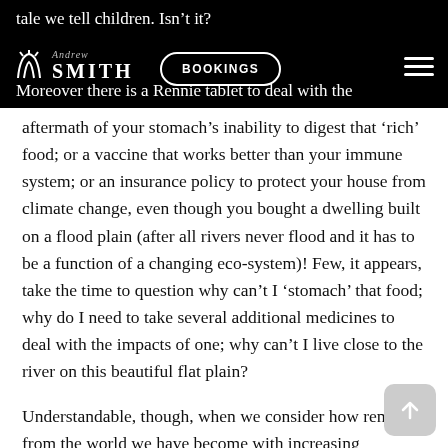Andrew Smith BOOKINGS
tale we tell children. Isn't it?
Moreover there is a Rennie tablet to deal with the aftermath of your stomach's inability to digest that 'rich' food; or a vaccine that works better than your immune system; or an insurance policy to protect your house from climate change, even though you bought a dwelling built on a flood plain (after all rivers never flood and it has to be a function of a changing eco-system)! Few, it appears, take the time to question why can't I 'stomach' that food; why do I need to take several additional medicines to deal with the impacts of one; why can't I live close to the river on this beautiful flat plain?
Understandable, though, when we consider how removed from the world we have become with increasing industrialisation and mechanisation, which have